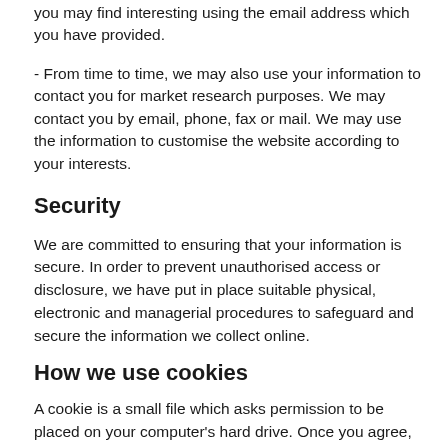you may find interesting using the email address which you have provided.
- From time to time, we may also use your information to contact you for market research purposes. We may contact you by email, phone, fax or mail. We may use the information to customise the website according to your interests.
Security
We are committed to ensuring that your information is secure. In order to prevent unauthorised access or disclosure, we have put in place suitable physical, electronic and managerial procedures to safeguard and secure the information we collect online.
How we use cookies
A cookie is a small file which asks permission to be placed on your computer's hard drive. Once you agree, the file is added and the cookie helps analyse web traffic or lets you know when you visit a particular site. Cookies allow web applications to respond to you as an individual. The web application can tailor its operations to your needs, likes and dislikes by gathering and remembering information